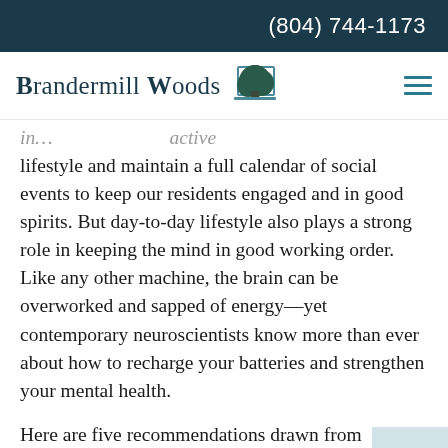(804) 744-1173
[Figure (logo): Brandermill Woods logo with tree illustration and hamburger menu icon]
lifestyle and maintain a full calendar of social events to keep our residents engaged and in good spirits. But day-to-day lifestyle also plays a strong role in keeping the mind in good working order. Like any other machine, the brain can be overworked and sapped of energy—yet contemporary neuroscientists know more than ever about how to recharge your batteries and strengthen your mental health.
Here are five recommendations drawn from neuroscientific research: